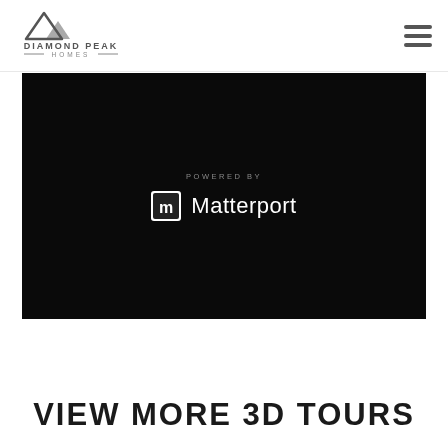[Figure (logo): Diamond Peak Homes logo with mountain peak icon and text DIAMOND PEAK HOMES]
[Figure (screenshot): Matterport 3D tour embed player with black background showing 'POWERED BY Matterport' branding in the center]
VIEW MORE 3D TOURS